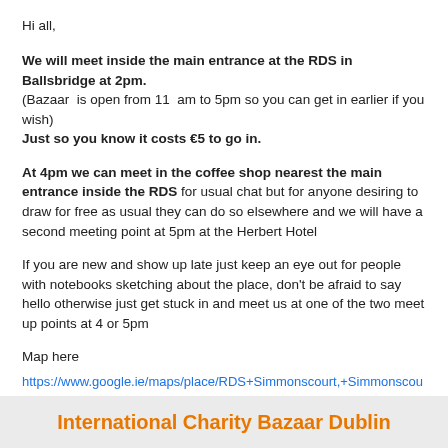Hi all,
We will meet inside the main entrance at the RDS in Ballsbridge at 2pm.
(Bazaar  is open from 11  am to 5pm so you can get in earlier if you wish)
Just so you know it costs €5 to go in.
At 4pm we can meet in the coffee shop nearest the main entrance inside the RDS for usual chat but for anyone desiring to draw for free as usual they can do so elsewhere and we will have a second meeting point at 5pm at the Herbert Hotel
If you are new and show up late just keep an eye out for people with notebooks sketching about the place, don't be afraid to say hello otherwise just get stuck in and meet us at one of the two meet up points at 4 or 5pm
Map here
https://www.google.ie/maps/place/RDS+Simmonscourt,+Simmonscourt+Rd,+Dublin+4/@53.3281165,-6.2288217,19z/data=!4m2!3m1!1s0x48670ecefd696399:0x8502c82f78839194?hl=en
International Charity Bazaar Dublin